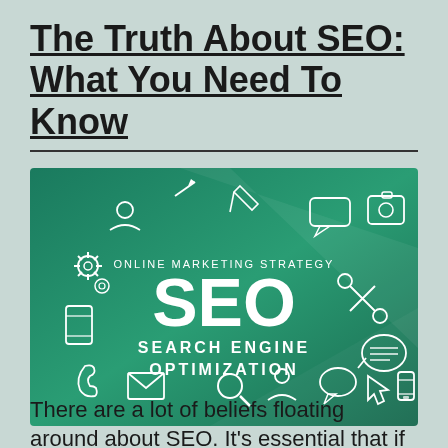The Truth About SEO: What You Need To Know
[Figure (illustration): Green banner graphic with white outline icons (phone, gear, camera, speech bubble, wrench, email, magnifying glass, person, arrow cursor, mobile device) surrounding central white text reading 'ONLINE MARKETING STRATEGY' above large 'SEO' and below 'SEARCH ENGINE OPTIMIZATION']
There are a lot of beliefs floating around about SEO. It's essential that if you plan on using...